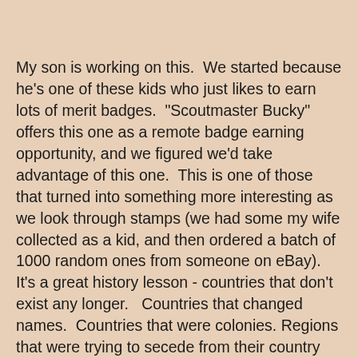My son is working on this.  We started because he's one of these kids who just likes to earn lots of merit badges.  "Scoutmaster Bucky" offers this one as a remote badge earning opportunity, and we figured we'd take advantage of this one.  This is one of those that turned into something more interesting as we look through stamps (we had some my wife collected as a kid, and then ordered a batch of 1000 random ones from someone on eBay).  It's a great history lesson - countries that don't exist any longer.   Countries that changed names.  Countries that were colonies. Regions that were trying to secede from their country